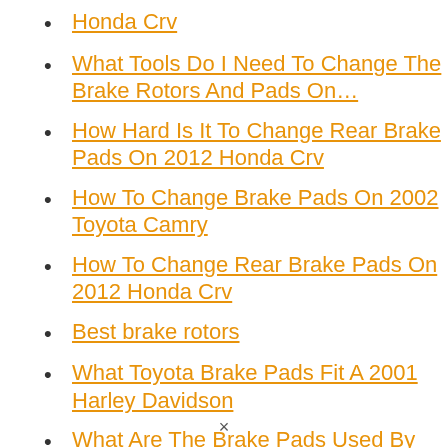Honda Crv
What Tools Do I Need To Change The Brake Rotors And Pads On…
How Hard Is It To Change Rear Brake Pads On 2012 Honda Crv
How To Change Brake Pads On 2002 Toyota Camry
How To Change Rear Brake Pads On 2012 Honda Crv
Best brake rotors
What Toyota Brake Pads Fit A 2001 Harley Davidson
What Are The Brake Pads Used By The Honda